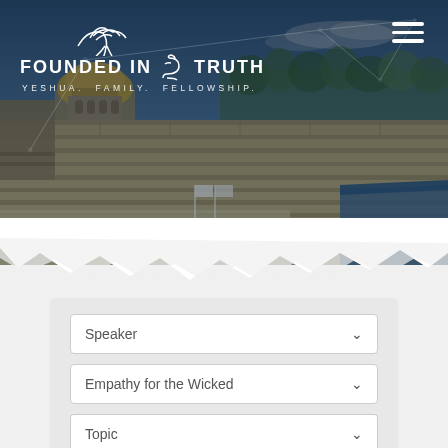[Figure (screenshot): Website screenshot showing 'Founded in Truth - Yeshua Family Fellowship' with Jerusalem/Western Wall hero image, hamburger menu icon, and form dropdowns for Speaker, Empathy for the Wicked, and Topic]
FOUNDED IN TRUTH YESHUA. FAMILY. FELLOWSHIP.
Speaker
Empathy for the Wicked
Topic